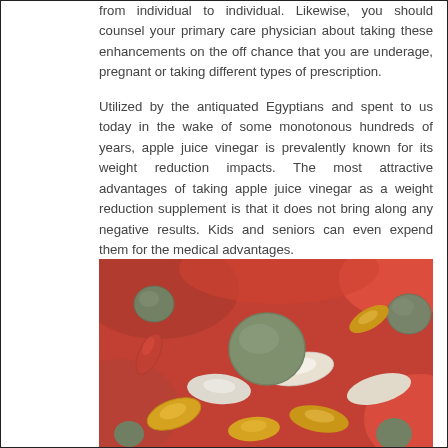from individual to individual. Likewise, you should counsel your primary care physician about taking these enhancements on the off chance that you are underage, pregnant or taking different types of prescription.
Utilized by the antiquated Egyptians and spent to us today in the wake of some monotonous hundreds of years, apple juice vinegar is prevalently known for its weight reduction impacts. The most attractive advantages of taking apple juice vinegar as a weight reduction supplement is that it does not bring along any negative results. Kids and seniors can even expend them for the medical advantages.
[Figure (photo): Close-up photograph of various dietary supplement pills and capsules including green tablets, white oval capsules, amber/yellow gel capsules, and red capsules arranged in a colorful pile.]